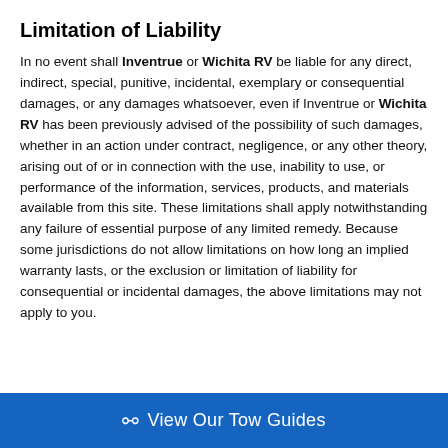Limitation of Liability
In no event shall Inventrue or Wichita RV be liable for any direct, indirect, special, punitive, incidental, exemplary or consequential damages, or any damages whatsoever, even if Inventrue or Wichita RV has been previously advised of the possibility of such damages, whether in an action under contract, negligence, or any other theory, arising out of or in connection with the use, inability to use, or performance of the information, services, products, and materials available from this site. These limitations shall apply notwithstanding any failure of essential purpose of any limited remedy. Because some jurisdictions do not allow limitations on how long an implied warranty lasts, or the exclusion or limitation of liability for consequential or incidental damages, the above limitations may not apply to you.
View Our Tow Guides